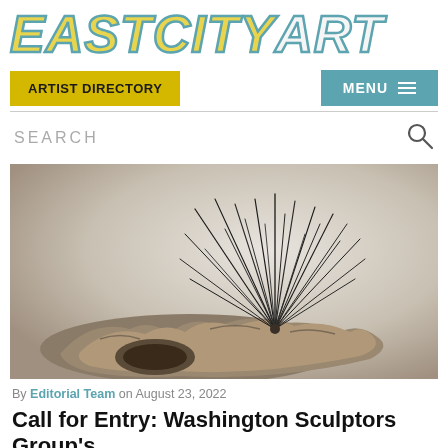EASTCITYART
ARTIST DIRECTORY | MENU
SEARCH
[Figure (photo): A sculpture consisting of a weathered driftwood or rock base with dark metallic spiky protrusions resembling pine needles or sea urchin spines rising from it, photographed against a light gray gradient background.]
By Editorial Team on August 23, 2022
Call for Entry: Washington Sculptors Group's